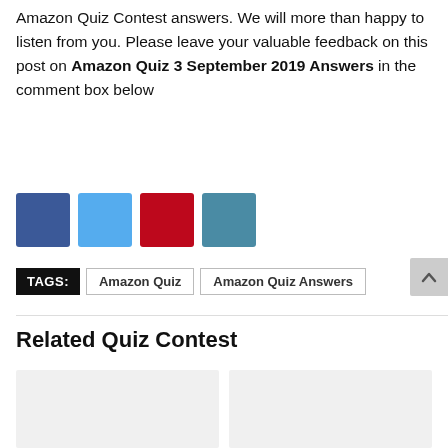Amazon Quiz Contest answers. We will more than happy to listen from you. Please leave your valuable feedback on this post on Amazon Quiz 3 September 2019 Answers in the comment box below
[Figure (other): Four social share buttons: Facebook (dark blue), Twitter (light blue), Pinterest (red), and a generic share button (teal/slate blue)]
TAGS: Amazon Quiz | Amazon Quiz Answers
[Figure (other): Scroll to top button (grey arrow pointing up)]
Related Quiz Contest
[Figure (other): Two placeholder image cards for related quiz contest posts]